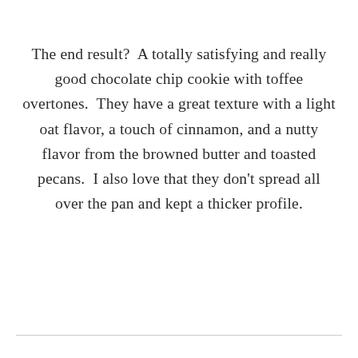The end result?  A totally satisfying and really good chocolate chip cookie with toffee overtones.  They have a great texture with a light oat flavor, a touch of cinnamon, and a nutty flavor from the browned butter and toasted pecans.  I also love that they don't spread all over the pan and kept a thicker profile.